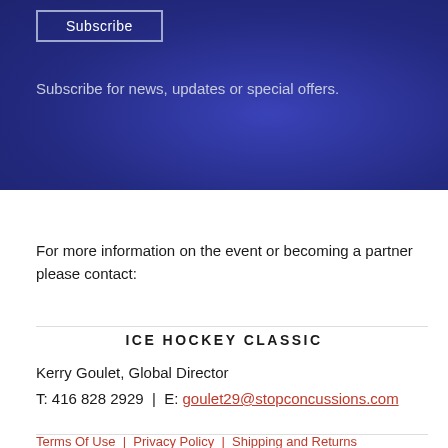[Figure (screenshot): Blue banner section with Subscribe button and newsletter text]
Subscribe
Subscribe for news, updates or special offers.
For more information on the event or becoming a partner please contact:
ICE HOCKEY CLASSIC
Kerry Goulet, Global Director
T: 416 828 2929 | E: goulet29@stopconcussions.com
Terms Of Use | Privacy Policy | Shipping and Returns